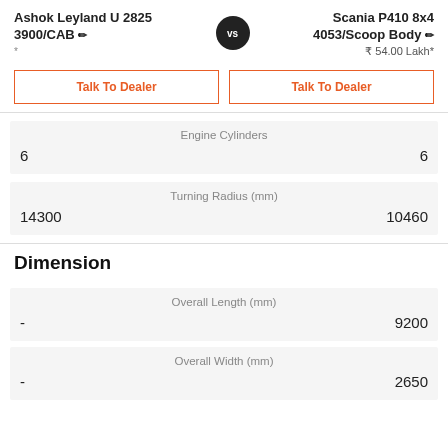Ashok Leyland U 2825 3900/CAB
Scania P410 8x4 4053/Scoop Body ₹ 54.00 Lakh*
Talk To Dealer
Talk To Dealer
| Ashok Leyland U 2825 3900/CAB | Engine Cylinders | Scania P410 8x4 4053/Scoop Body |
| --- | --- | --- |
| 6 |  | 6 |
| 14300 | Turning Radius (mm) | 10460 |
Dimension
| Ashok Leyland U 2825 3900/CAB | Overall Length (mm) | Scania P410 8x4 4053/Scoop Body |
| --- | --- | --- |
| - |  | 9200 |
| - | Overall Width (mm) | 2650 |